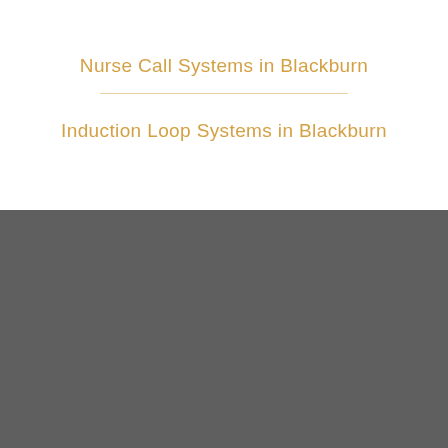Nurse Call Systems in Blackburn
Induction Loop Systems in Blackburn